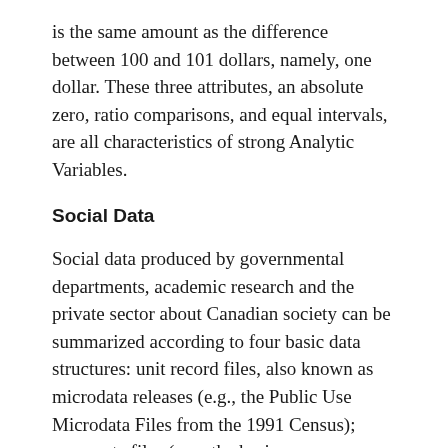is the same amount as the difference between 100 and 101 dollars, namely, one dollar. These three attributes, an absolute zero, ratio comparisons, and equal intervals, are all characteristics of strong Analytic Variables.
Social Data
Social data produced by governmental departments, academic research and the private sector about Canadian society can be summarized according to four basic data structures: unit record files, also known as microdata releases (e.g., the Public Use Microdata Files from the 1991 Census); aggregate files (e.g., the basic summary tables from the Census); time series records (e.g.